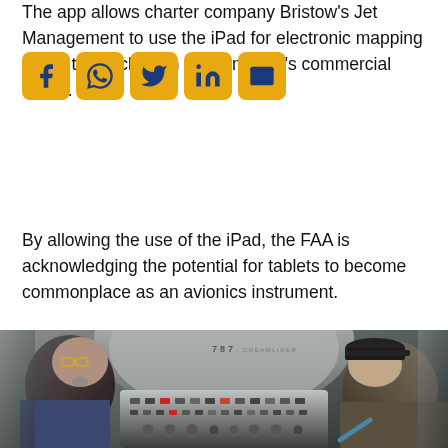The app allows charter company Bristow's Jet Management to use the iPad for electronic mapping within the cockpit on the company's commercial flights.
[Figure (infographic): Social media sharing icons: Facebook, WhatsApp, Twitter, LinkedIn, Email — gold/yellow rounded square buttons with dark blue icons]
By allowing the use of the iPad, the FAA is acknowledging the potential for tablets to become commonplace as an avionics instrument.
[Figure (photo): Two men inspecting a Boeing 787 Dreamliner cockpit instrument panel. The '787 DREAMLINER' label is visible above the cockpit. One man on the left wears glasses, the other on the right wears a dark cap.]